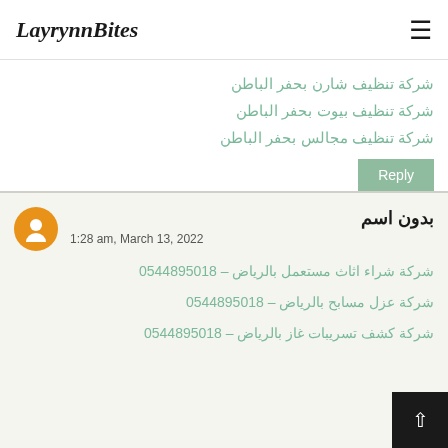LayrynnBites
شركة تنظيف شارن بحفر الباطن
شركة تنظيف بيوت بحفر الباطن
شركة تنظيف مجالس بحفر الباطن
Reply
بدون اسم
1:28 am, March 13, 2022
شركة شراء اثاث مستعمل بالرياض – 0544895018
شركة عزل مسابح بالرياض – 0544895018
شركة كشف تسريبات غاز بالرياض – 0544895018